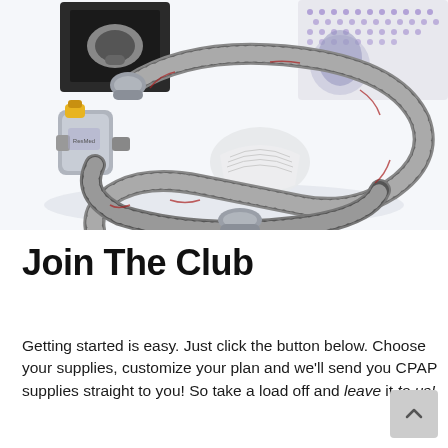[Figure (photo): CPAP equipment photo showing a coiled corrugated grey breathing hose/tubing, a humidifier chamber with yellow cap, a grey CPAP mask component, white filter, and CPAP device packaging boxes in the background on a white surface.]
Join The Club
Getting started is easy. Just click the button below. Choose your supplies, customize your plan and we'll send you CPAP supplies straight to you! So take a load off and leave it to us!